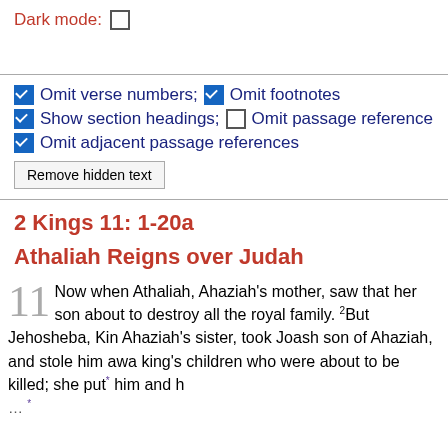Dark mode: ☐
☑ Omit verse numbers; ☑ Omit footnotes
☑ Show section headings; ☐ Omit passage reference
☑ Omit adjacent passage references
Remove hidden text
2 Kings 11: 1-20a
Athaliah Reigns over Judah
11 Now when Athaliah, Ahaziah's mother, saw that her son was about to destroy all the royal family. 2But Jehosheba, King Ahaziah's sister, took Joash son of Ahaziah, and stole him away from among the king's children who were about to be killed; she put* him and h…